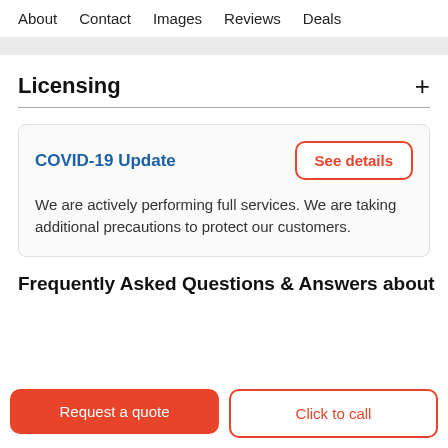About   Contact   Images   Reviews   Deals
Licensing
COVID-19 Update
We are actively performing full services. We are taking additional precautions to protect our customers.
Frequently Asked Questions & Answers about
Request a quote
Click to call